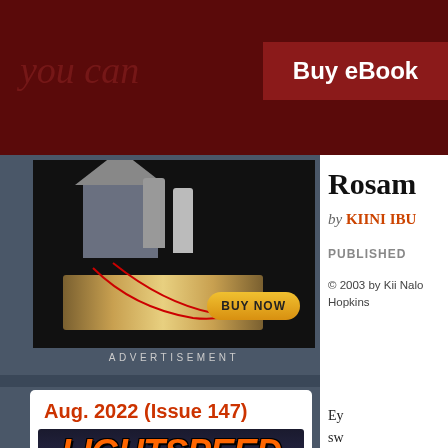Buy eBook
[Figure (illustration): Advertisement image showing figures standing on an open book with a house, red wires, and a BUY NOW button]
ADVERTISEMENT
Aug. 2022 (Issue 147)
[Figure (illustration): Lightspeed Science Fiction & Fantasy magazine cover, Aug. 2022 Issue 147]
Rosam
by KIINI IBU
PUBLISHED
© 2003 by Kii Nalo Hopkins
Ey sw nc he th